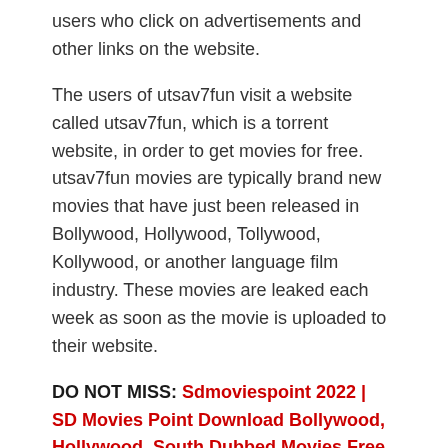users who click on advertisements and other links on the website.
The users of utsav7fun visit a website called utsav7fun, which is a torrent website, in order to get movies for free. utsav7fun movies are typically brand new movies that have just been released in Bollywood, Hollywood, Tollywood, Kollywood, or another language film industry. These movies are leaked each week as soon as the movie is uploaded to their website.
DO NOT MISS: Sdmoviespoint 2022 | SD Movies Point Download Bollywood, Hollywood, South Dubbed Movies Free Latest Updates
The availability of TV shows and web series for illegal